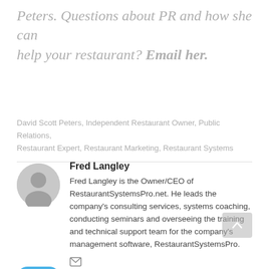Peters. Questions about PR and how she can help your restaurant? Email her.
David Scott Peters, Independent Restaurant Owner, Public Relations, Restaurant Expert, Restaurant Marketing, Restaurant Systems
Fred Langley
Fred Langley is the Owner/CEO of RestaurantSystemsPro.net. He leads the company's consulting services, systems coaching, conducting seminars and overseeing the training and technical support team for the company's management software, RestaurantSystemsPro.
[Figure (illustration): Email icon (envelope) inside a blue rounded square button]
[Figure (illustration): Small envelope/email icon]